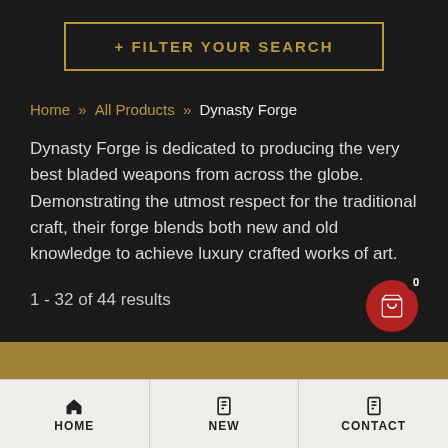[Figure (screenshot): Filter Your Search button with gold border on dark background]
Home » All Products » Dynasty Forge
Dynasty Forge is dedicated to producing the very best bladed weapons from across the globe. Demonstrating the utmost respect for the traditional craft, their forge blends both new and old knowledge to achieve luxury crafted works of art.
1 - 32 of 44 results
HOME  NEW  CONTACT